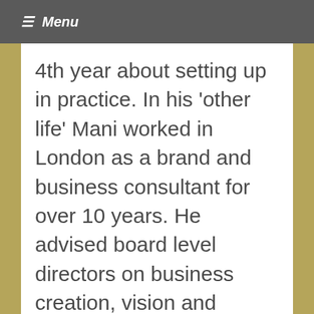≡ Menu
4th year about setting up in practice. In his 'other life' Mani worked in London as a brand and business consultant for over 10 years. He advised board level directors on business creation, vision and image. Mani is passionate about the positive promotion of homeopathy to the general public and has written many consumer facing articles on homeopathy and been interviewed on BBC radio several times.